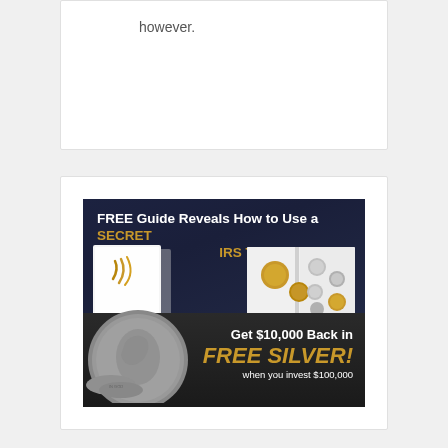however.
[Figure (infographic): Advertisement for free guide about IRS tax loophole with gold/silver investment offer. Text reads: FREE Guide Reveals How to Use a SECRET IRS TAX LOOPHOLE. Get $10,000 Back in FREE SILVER! when you invest $100,000. Shows images of a white brochure/guide, gold coins, a coin catalog, and silver coins.]